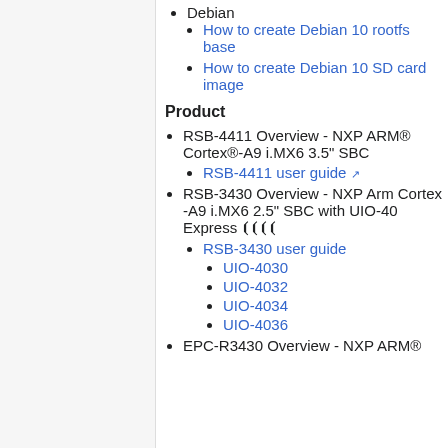Debian
How to create Debian 10 rootfs base
How to create Debian 10 SD card image
Product
RSB-4411 Overview - NXP ARM® Cortex®-A9 i.MX6 3.5" SBC
RSB-4411 user guide
RSB-3430 Overview - NXP Arm Cortex -A9 i.MX6 2.5" SBC with UIO-40 Express 🔗🔗🔗🔗
RSB-3430 user guide
UIO-4030
UIO-4032
UIO-4034
UIO-4036
EPC-R3430 Overview - NXP ARM®